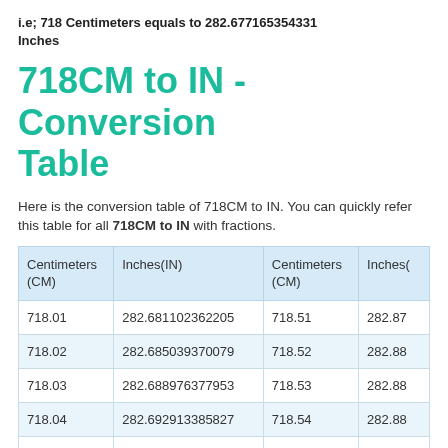i.e; 718 Centimeters equals to 282.677165354331 Inches
718CM to IN - Conversion Table
Here is the conversion table of 718CM to IN. You can quickly refer this table for all 718CM to IN with fractions.
| Centimeters (CM) | Inches(IN) | Centimeters (CM) | Inches(IN) |
| --- | --- | --- | --- |
| 718.01 | 282.681102362205 | 718.51 | 282.87 |
| 718.02 | 282.685039370079 | 718.52 | 282.88 |
| 718.03 | 282.688976377953 | 718.53 | 282.88 |
| 718.04 | 282.692913385827 | 718.54 | 282.88 |
| 718.05 | 282.696850393701 | 718.55 | 282.89 |